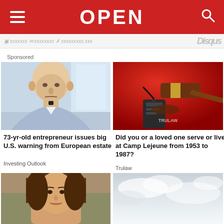OPEN
Sponsored
[Figure (photo): Elderly bald man in light blue shirt, sitting indoors near window]
73-yr-old entrepreneur issues big U.S. warning from European estate
Investing Outlook
[Figure (photo): Wooden judge gavel and military dog tag on red background, with TruLaw logo]
Did you or a loved one serve or live at Camp Lejeune from 1953 to 1987?
Trulaw
[Figure (photo): Partial view of woman, top of head and face visible (cropped)]
[Figure (photo): Partial view of cloudy sky (cropped)]